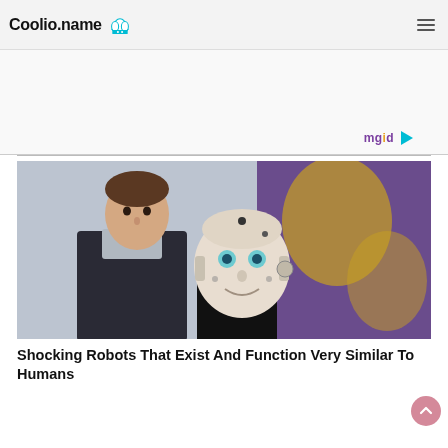Coolio.name
[Figure (photo): A man standing next to a humanoid robot (Sophia robot). The man is wearing a dark jacket. The robot has a realistic human-like face. Background shows colorful display boards.]
Shocking Robots That Exist And Function Very Similar To Humans